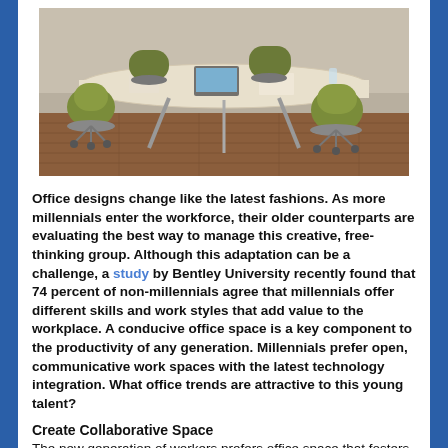[Figure (photo): Office photo showing a modern collaborative workspace with a curved white table, green/olive office chairs on wheels, and hardwood flooring. A laptop and papers are visible on the table.]
Office designs change like the latest fashions. As more millennials enter the workforce, their older counterparts are evaluating the best way to manage this creative, free-thinking group. Although this adaptation can be a challenge, a study by Bentley University recently found that 74 percent of non-millennials agree that millennials offer different skills and work styles that add value to the workplace. A conducive office space is a key component to the productivity of any generation. Millennials prefer open, communicative work spaces with the latest technology integration. What office trends are attractive to this young talent?
Create Collaborative Space
The new generation of workers prefers office space that fosters collaboration. Low-walled cubicles create a team environment. Many offices are utilizing shared work space in addition to